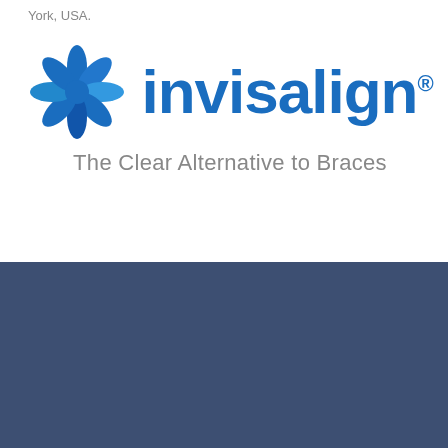York, USA.
[Figure (logo): Invisalign logo with blue snowflake/flower icon, brand name 'invisalign' in blue with registered trademark symbol, and tagline 'The Clear Alternative to Braces' in grey]
[Figure (screenshot): Dark blue background section with a video bar showing a dental clinic logo, Thai text followed by '- Invisalign' as the video title, three-dot menu icon, and a scroll-up button]